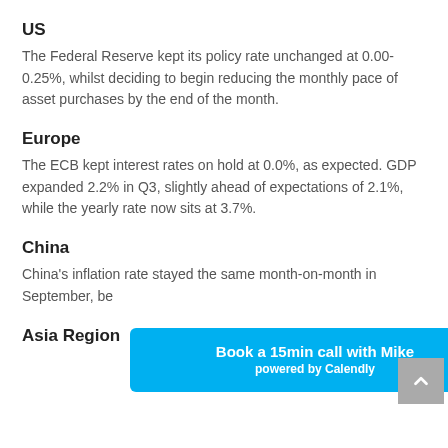US
The Federal Reserve kept its policy rate unchanged at 0.00-0.25%, whilst deciding to begin reducing the monthly pace of asset purchases by the end of the month.
Europe
The ECB kept interest rates on hold at 0.0%, as expected. GDP expanded 2.2% in Q3, slightly ahead of expectations of 2.1%, while the yearly rate now sits at 3.7%.
China
China's inflation rate stayed the same month-on-month in September, be[…]
Asia Region